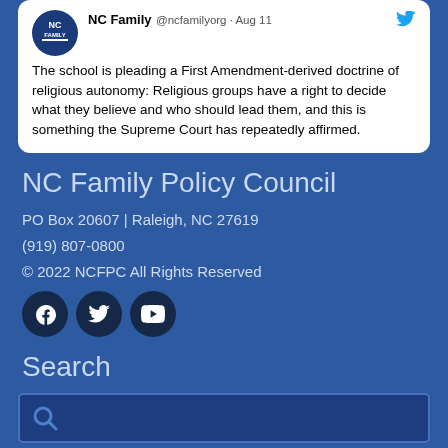[Figure (screenshot): Tweet card from NC Family (@ncfamilyorg, Aug 11) with NC Family logo and Twitter bird icon. Tweet text: 'The school is pleading a First Amendment-derived doctrine of religious autonomy: Religious groups have a right to decide what they believe and who should lead them, and this is something the Supreme Court has repeatedly affirmed.']
NC Family Policy Council
PO Box 20607 | Raleigh, NC 27619
(919) 807-0800
© 2022 NCFPC All Rights Reserved
[Figure (illustration): Social media icons: Facebook, Twitter, YouTube — dark navy circular buttons]
Search
[Figure (screenshot): Search input box with magnifying glass icon on dark blue background]